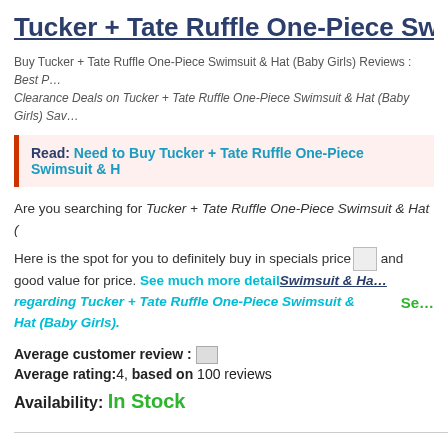Tucker + Tate Ruffle One-Piece Swimsuit & H…
Buy Tucker + Tate Ruffle One-Piece Swimsuit & Hat (Baby Girls) Reviews : Best P… Clearance Deals on Tucker + Tate Ruffle One-Piece Swimsuit & Hat (Baby Girls) Sav…
Read: Need to Buy Tucker + Tate Ruffle One-Piece Swimsuit & H…
Are you searching for Tucker + Tate Ruffle One-Piece Swimsuit & Hat (…
Here is the spot for you to definitely buy in specials price and good value for price. See much more detail regarding Tucker + Tate Ruffle One-Piece Swimsuit & Hat (Baby Girls).
Average customer review :
Average rating:4, based on 100 reviews
Availability: In Stock